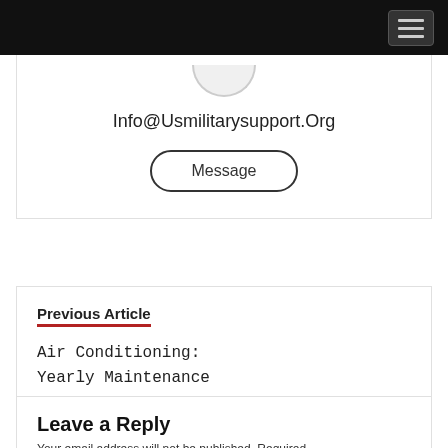Info@Usmilitarysupport.Org
Message
Previous Article
Air Conditioning: Yearly Maintenance
Leave a Reply
Your email address will not be published. Required